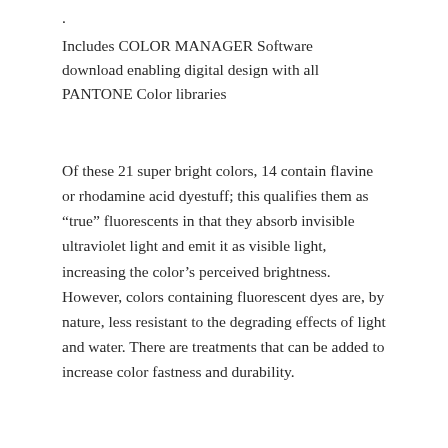Includes COLOR MANAGER Software download enabling digital design with all PANTONE Color libraries
Of these 21 super bright colors, 14 contain flavine or rhodamine acid dyestuff; this qualifies them as “true” fluorescents in that they absorb invisible ultraviolet light and emit it as visible light, increasing the color’s perceived brightness. However, colors containing fluorescent dyes are, by nature, less resistant to the degrading effects of light and water. There are treatments that can be added to increase color fastness and durability.